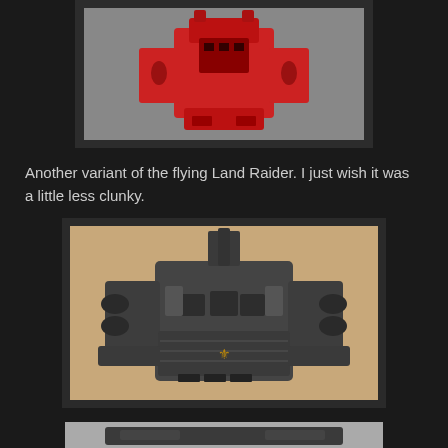[Figure (photo): Top-down view of a red flying Land Raider miniature (Warhammer 40K style) on a gray background]
Another variant of the flying Land Raider. I just wish it was a little less clunky.
[Figure (photo): Top-down view of a dark gray flying Land Raider miniature with gold aquila emblem, on a tan background]
[Figure (photo): Partially visible top-down view of another dark Land Raider miniature at the bottom of the page]